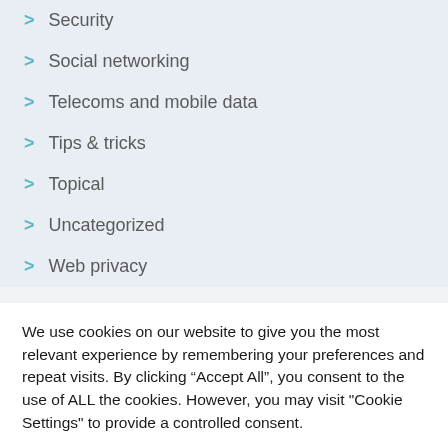> Security
> Social networking
> Telecoms and mobile data
> Tips & tricks
> Topical
> Uncategorized
> Web privacy
We use cookies on our website to give you the most relevant experience by remembering your preferences and repeat visits. By clicking “Accept All”, you consent to the use of ALL the cookies. However, you may visit "Cookie Settings" to provide a controlled consent.